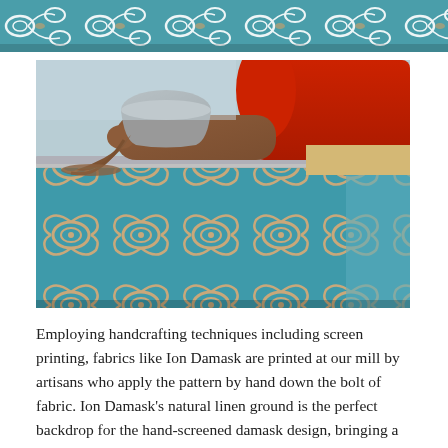[Figure (photo): Top strip of a decorative fabric/tile pattern — teal blue background with white and gold arabesque/damask scroll motifs, partially cropped at the top of the page.]
[Figure (photo): A person in a red shirt pouring brown dye/ink from a bucket onto a screen printing frame placed over a teal blue fabric with cream/tan arabesque damask pattern. The screen printing process for Ion Damask fabric is shown.]
Employing handcrafting techniques including screen printing, fabrics like Ion Damask are printed at our mill by artisans who apply the pattern by hand down the bolt of fabric. Ion Damask's natural linen ground is the perfect backdrop for the hand-screened damask design, bringing a more relaxed look ideal for